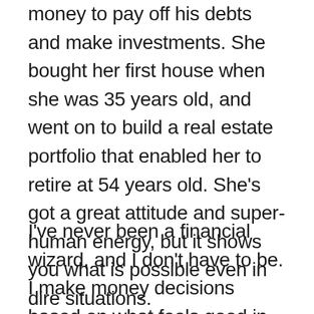money to pay off his debts and make investments. She bought her first house when she was 35 years old, and went on to build a real estate portfolio that enabled her to retire at 54 years old. She's got a great attitude and super-human energy, but it shows you what is possible even in dire situations.
I've never been a financial wizard, and I don't have to be. I make money decisions based on what feels good in my body. I don't have a big house, expensive